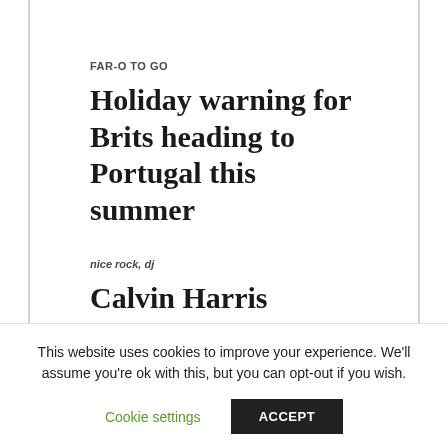FAR-O TO GO
Holiday warning for Brits heading to Portugal this summer
nice rock, dj
Calvin Harris ENGAGED to Vick Hope after whirlwind
This website uses cookies to improve your experience. We'll assume you're ok with this, but you can opt-out if you wish.
Cookie settings   ACCEPT